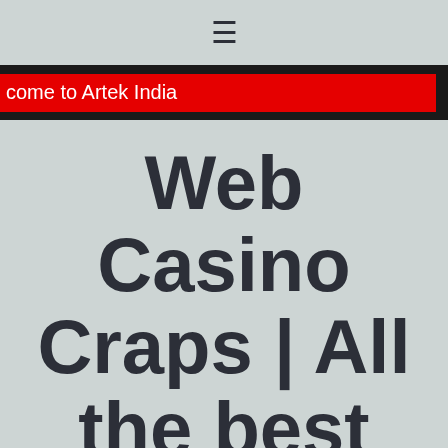☰
come to Artek India
Web Casino Craps | All the best wins at online casinos